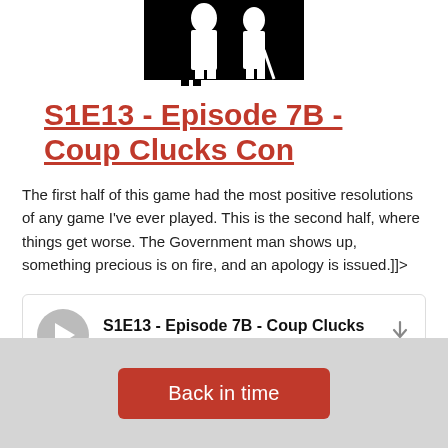[Figure (illustration): Silhouette image of figures on white/black background at top of page]
S1E13 - Episode 7B - Coup Clucks Con
The first half of this game had the most positive resolutions of any game I've ever played. This is the second half, where things get worse. The Government man shows up, something precious is on fire, and an apology is issued.]]&gt;
[Figure (other): Audio player widget with play button, episode title 'S1E13 - Episode 7B - Coup Clucks', progress bar, and download icon]
Back in time